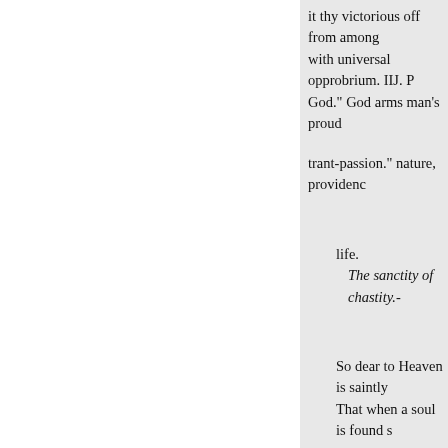it thy victorious off from among with universal opprobrium. IIJ. P God." God arms man's proud
trant-passion." nature, providence
life.
The sanctity of chastity.-
So dear to Heaven is saintly That when a soul is found s
excellences of the A thousand liv
1) dy im preg- And in clear dream, and sol Tell her of things that no gr
Till oft converse with heave
25. Joseph Begin to cast and t